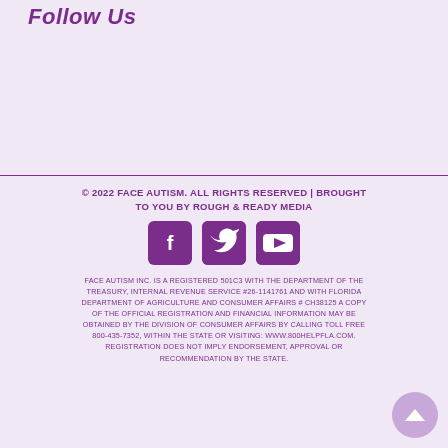Follow Us
© 2022 FACE AUTISM. ALL RIGHTS RESERVED | BROUGHT TO YOU BY ROUGH & READY MEDIA
[Figure (other): Social media icons: Facebook, Twitter, YouTube in purple rounded squares]
FACE AUTISM INC. IS A REGISTERED 501C3 WITH THE DEPARTMENT OF THE TREASURY, INTERNAL REVENUE SERVICE #26-1141761 AND WITH FLORIDA DEPARTMENT OF AGRICULTURE AND CONSUMER AFFAIRS # CH38125 A COPY OF THE OFFICIAL REGISTRATION AND FINANCIAL INFORMATION MAY BE OBTAINED BY THE DIVISION OF CONSUMER AFFAIRS BY CALLING TOLL FREE 800-435-7352, WITHIN THE STATE OR VISITING: WWW.800HELPFLA.COM. REGISTRATION DOES NOT IMPLY ENDORSEMENT, APPROVAL OR RECOMMENDATION BY THE STATE.